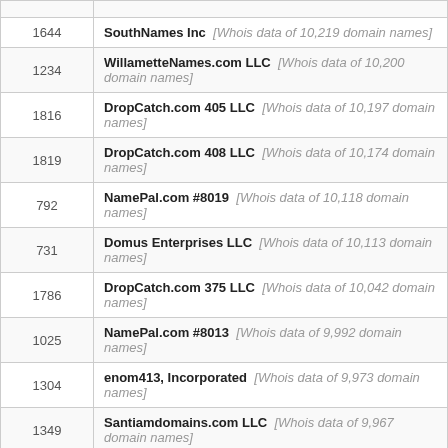| ID | Name |
| --- | --- |
| 1644 | SouthNames Inc  [Whois data of 10,219 domain names] |
| 1234 | WillametteNames.com LLC  [Whois data of 10,200 domain names] |
| 1816 | DropCatch.com 405 LLC  [Whois data of 10,197 domain names] |
| 1819 | DropCatch.com 408 LLC  [Whois data of 10,174 domain names] |
| 792 | NamePal.com #8019  [Whois data of 10,118 domain names] |
| 731 | Domus Enterprises LLC  [Whois data of 10,113 domain names] |
| 1786 | DropCatch.com 375 LLC  [Whois data of 10,042 domain names] |
| 1025 | NamePal.com #8013  [Whois data of 9,992 domain names] |
| 1304 | enom413, Incorporated  [Whois data of 9,973 domain names] |
| 1349 | Santiamdomains.com LLC  [Whois data of 9,967 domain names] |
| 887 | Netdorm, Inc. dba DnsExit.com  [Whois data of 9,961 domain names] |
| 1834 | DropCatch.com 423 LLC  [Whois data of 9,957 domain names] |
| 1360 | Klaatudomains.com LLC  [Whois data of 9,952 domain names] |